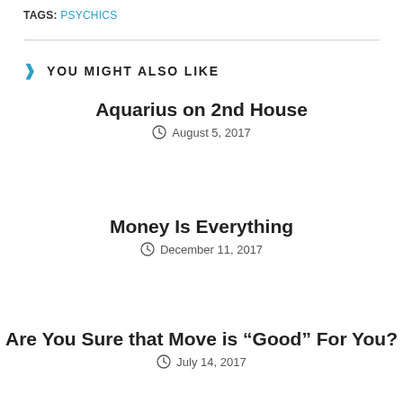TAGS: PSYCHICS
YOU MIGHT ALSO LIKE
Aquarius on 2nd House
August 5, 2017
Money Is Everything
December 11, 2017
Are You Sure that Move is “Good” For You?
July 14, 2017